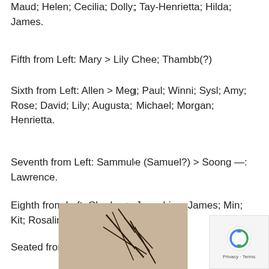Maud; Helen; Cecilia; Dolly; Tay-Henrietta; Hilda; James.
Fifth from Left: Mary > Lily Chee; Thambb(?)
Sixth from Left: Allen > Meg; Paul; Winni; Sysl; Amy; Rose; David; Lily; Augusta; Michael; Morgan; Henrietta.
Seventh from Left: Sammule (Samuel?) > Soong —: Lawrence.
Eighth from Left: Charles > Josephine; James; Min; Kit; Rosalind; Soon Siang.
Seated from Left: Great grandfather
[Figure (photo): Partial view of a handwritten document or photograph with dark pen strokes visible on a light background]